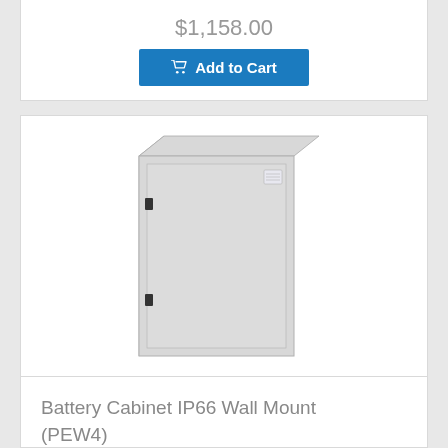$1,158.00
Add to Cart
[Figure (photo): Battery Cabinet IP66 Wall Mount (PEW4) — light grey metal wall-mount enclosure with a single door, two locking points, and a small label on the top right of the door.]
Battery Cabinet IP66 Wall Mount (PEW4)